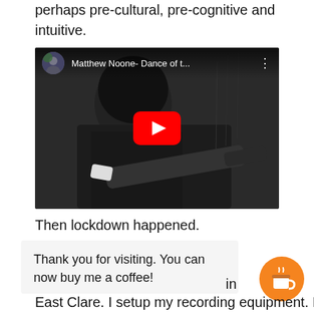perhaps pre-cultural, pre-cognitive and intuitive.
[Figure (screenshot): YouTube video embed showing Matthew Noone- Dance of t... with a guitarist in black and white photo, red YouTube play button in center, avatar thumbnail top left, video title and three-dot menu in top bar.]
Then lockdown happened.
Thank you for visiting. You can now buy me a coffee!
in
East Clare. I setup my recording equipment. I